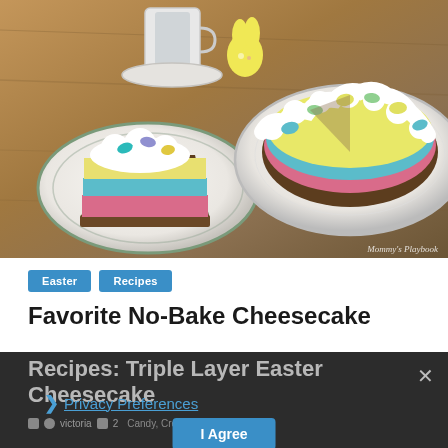[Figure (photo): Photo of a triple-layer Easter cheesecake: a slice on a white plate with teal, pink, and yellow layers topped with whipped cream and candy eggs, alongside the full cheesecake in a white dish decorated with whipped cream swirls and colorful candy eggs, on a wooden table with a yellow Peeps bunny and a mug in background. Watermark reads 'Mommy's Playbook'.]
Easter   Recipes
Favorite No-Bake Cheesecake Recipes: Triple Layer Easter Cheesecake
× Privacy Preferences  I Agree
victoria   2   Candy, Cream Cheese